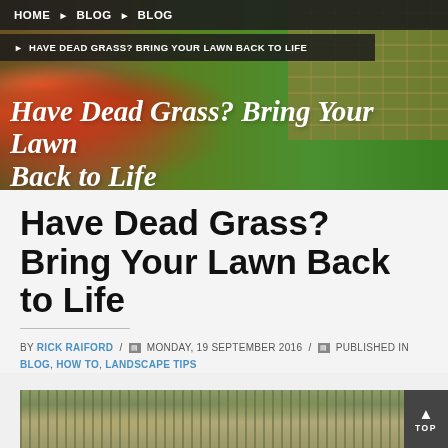HOME BLOG BLOG
HAVE DEAD GRASS? BRING YOUR LAWN BACK TO LIFE
[Figure (photo): Garden scene with colorful flowers (red/pink), green lawn, and brick paver pathway. Hero banner image for the article.]
Have Dead Grass? Bring Your Lawn Back to Life
BY RICK RAIFORD / MONDAY, 19 SEPTEMBER 2016 / PUBLISHED IN BLOG, HOW TO, LANDSCAPE TIPS
[Figure (photo): Photo of dead/patchy lawn grass with bare dirt spots.]